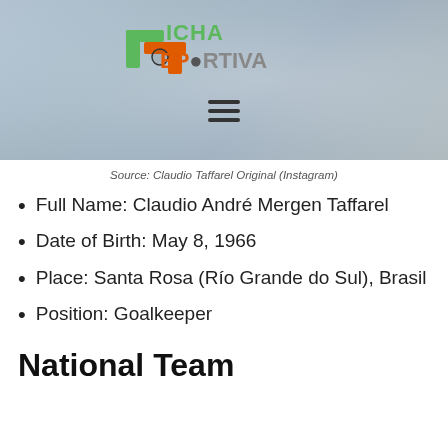[Figure (screenshot): Ficha Deportiva website header with logo and hamburger menu icon over a blurred sports background image]
Source: Claudio Taffarel Original (Instagram)
Full Name: Claudio André Mergen Taffarel
Date of Birth: May 8, 1966
Place: Santa Rosa (Río Grande do Sul), Brasil
Position: Goalkeeper
National Team